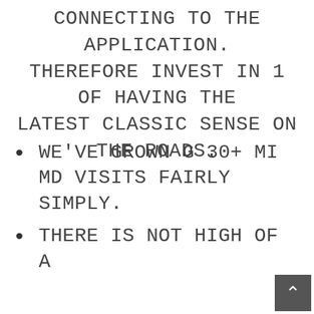connecting to the application. Therefore invest in 1 of having the latest classic sense on the roads.
We've grown g 30+ mi md visits fairly simply.
There is not high of a